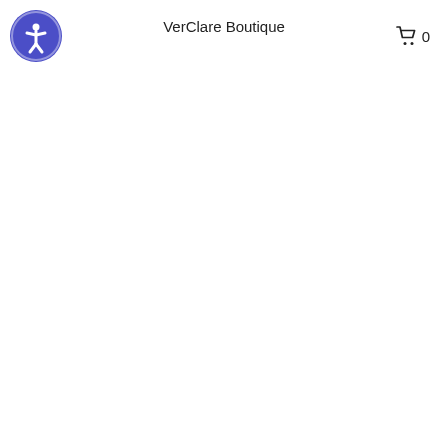VerClare Boutique
Fog & Rust Ditsy Sleeveless Top
$49.99
or 4 interest-free payments of $12.50 with Sezzle
Shipping calculated at checkout